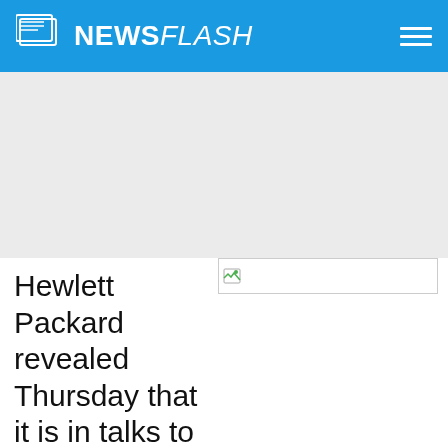NEWSFLASH
[Figure (other): Gray advertisement banner placeholder]
Hewlett Packard revealed Thursday that it is in talks to buy Britis
[Figure (other): Broken/missing image placeholder]